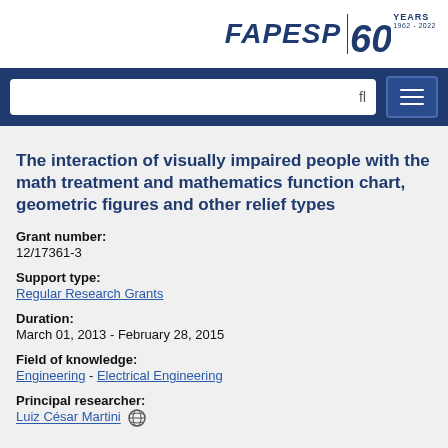FAPESP 60 YEARS 1962-2022
The interaction of visually impaired people with the math treatment and mathematics function chart, geometric figures and other relief types
Grant number: 12/17361-3
Support type: Regular Research Grants
Duration: March 01, 2013 - February 28, 2015
Field of knowledge: Engineering - Electrical Engineering
Principal researcher: Luiz César Martini